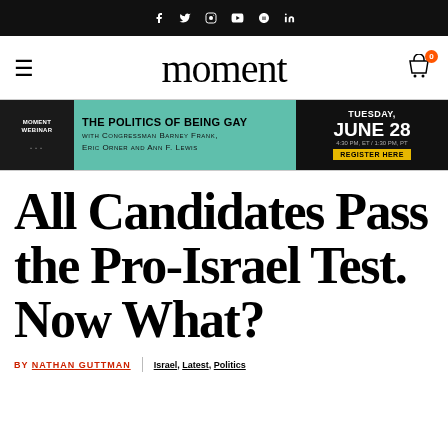moment — social icons bar (f, twitter, instagram, youtube, pinterest, linkedin)
[Figure (logo): Moment magazine logo with hamburger menu and cart icon]
[Figure (infographic): Banner ad: THE POLITICS OF BEING GAY with Congressman Barney Frank, Eric Orner and Ann F. Lewis — TUESDAY, JUNE 28 4:30 PM, ET / 1:30 PM, PT — REGISTER HERE]
All Candidates Pass the Pro-Israel Test. Now What?
BY NATHAN GUTTMAN | Israel, Latest, Politics